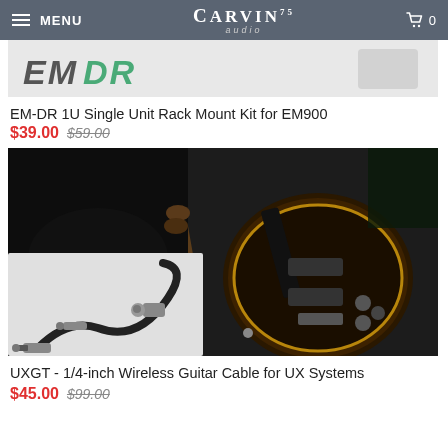MENU | CARVIN audio | 0
[Figure (photo): Partial product image showing EM-DR rack mount kit branding with 'EM' in gray and 'DR' in teal italic text on light background]
EM-DR 1U Single Unit Rack Mount Kit for EM900
$39.00 $59.00
[Figure (photo): Composite product photo: top half shows a person in black jacket playing a dark electric guitar with gold binding on a dark stage; bottom left overlaid with photo of audio cable with 1/4-inch TS and XLR connectors]
UXGT - 1/4-inch Wireless Guitar Cable for UX Systems
$45.00 $99.00